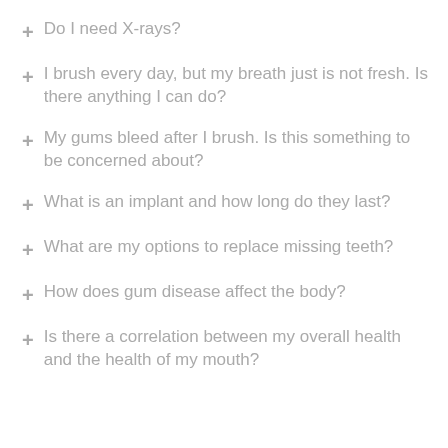Do I need X-rays?
I brush every day, but my breath just is not fresh. Is there anything I can do?
My gums bleed after I brush. Is this something to be concerned about?
What is an implant and how long do they last?
What are my options to replace missing teeth?
How does gum disease affect the body?
Is there a correlation between my overall health and the health of my mouth?